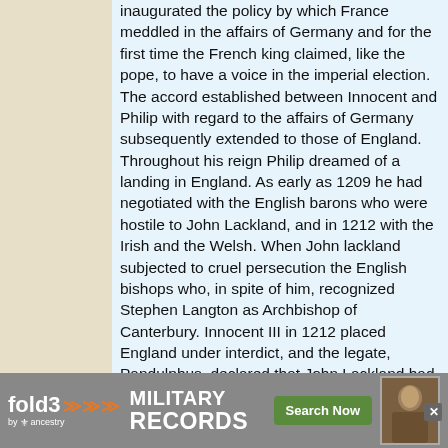inaugurated the policy by which France meddled in the affairs of Germany and for the first time the French king claimed, like the pope, to have a voice in the imperial election. The accord established between Innocent and Philip with regard to the affairs of Germany subsequently extended to those of England. Throughout his reign Philip dreamed of a landing in England. As early as 1209 he had negotiated with the English barons who were hostile to John Lackland, and in 1212 with the Irish and the Welsh. When John lackland subjected to cruel persecution the English bishops who, in spite of him, recognized Stephen Langton as Archbishop of Canterbury. Innocent III in 1212 placed England under interdict, and the legate, Pandulphus, declared that John Lackland had forfeited his throne. Then Philip, who received at his court all the exiles from England, consented to go to England in the name of Innocent III to take away the crown from John Lackland. It was to be given to his son, the
[Figure (other): fold3 by ancestry military records advertisement banner with Search Now button and soldier photo]